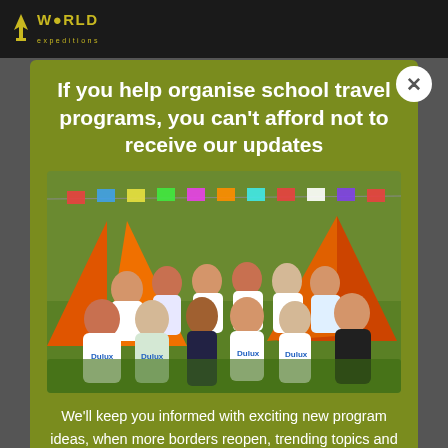WORLD expeditions
If you help organise school travel programs, you can't afford not to receive our updates
[Figure (photo): Group of teenagers and a young boy in Dulux t-shirts sitting in front of orange tents on a grassy field with colorful prayer flags strung above]
We'll keep you informed with exciting new program ideas, when more borders reopen, trending topics and more so you can focus on teaching. Make your life easier by signing